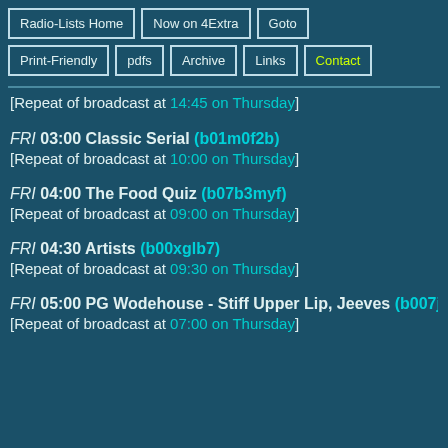Radio-Lists Home
Now on 4Extra
Goto
Print-Friendly
pdfs
Archive
Links
Contact
[Repeat of broadcast at 14:45 on Thursday]
FRI 03:00 Classic Serial (b01m0f2b)
[Repeat of broadcast at 10:00 on Thursday]
FRI 04:00 The Food Quiz (b07b3myf)
[Repeat of broadcast at 09:00 on Thursday]
FRI 04:30 Artists (b00xglb7)
[Repeat of broadcast at 09:30 on Thursday]
FRI 05:00 PG Wodehouse - Stiff Upper Lip, Jeeves (b007j...
[Repeat of broadcast at 07:00 on Thursday]